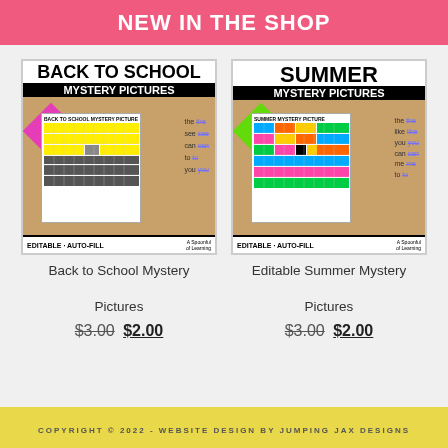NEW IN THE SHOP
[Figure (photo): Back to School Mystery Pictures product cover showing colorful pixel grid worksheets on a wooden table with pink background]
Back to School Mystery Pictures
$3.00 $2.00
[Figure (photo): Editable Summer Mystery Pictures product cover showing colorful pixel grid worksheets with green background]
Editable Summer Mystery Pictures
$3.00 $2.00
COPYRIGHT © 2022 - WEBSITE DESIGN BY JUMPING JAX DESIGNS